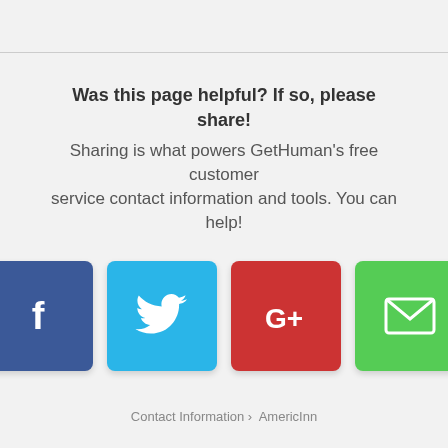Was this page helpful? If so, please share! Sharing is what powers GetHuman's free customer service contact information and tools. You can help!
[Figure (infographic): Four social sharing buttons: Facebook (blue, f icon), Twitter (light blue, bird icon), Google+ (red, G+ icon), Email (green, envelope icon)]
Contact Information › AmericInn